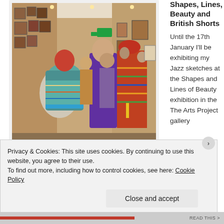[Figure (photo): Crowd of people at an art gallery opening, viewed from behind. Several people in colourful patterned clothing are visible. Framed artworks hang on the walls.]
Shapes and Lines of Beauty exhibition
Shapes, Lines, Beauty and British Shorts
Until the 17th January I'll be exhibiting my Jazz sketches at the Shapes and Lines of Beauty exhibition in the The Arts Project gallery
Privacy & Cookies: This site uses cookies. By continuing to use this website, you agree to their use.
To find out more, including how to control cookies, see here: Cookie Policy
Close and accept